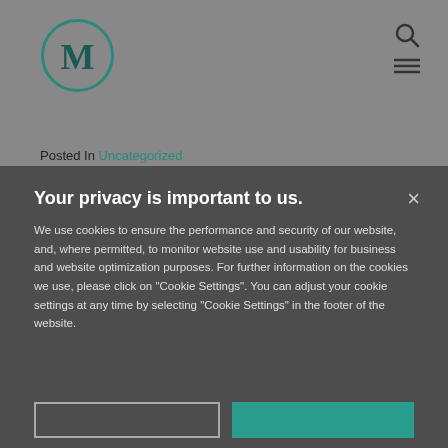[Figure (logo): Circular logo with letter M in teal/dark green color]
Posted In Uncategorized
On March 13, 2018, the United States District Court for the Eastern District of Oklahoma dismissed U.S. ex rel. Montalvo v. Native American Servs. Corp. In this case, the relators alleged that the defendants performed substandard work at a US Army
Your privacy is important to us.
We use cookies to ensure the performance and security of our website, and, where permitted, to monitor website use and usability for business and website optimization purposes. For further information on the cookies we use, please click on "Cookie Settings". You can adjust your cookie settings at any time by selecting "Cookie Settings" in the footer of the website.